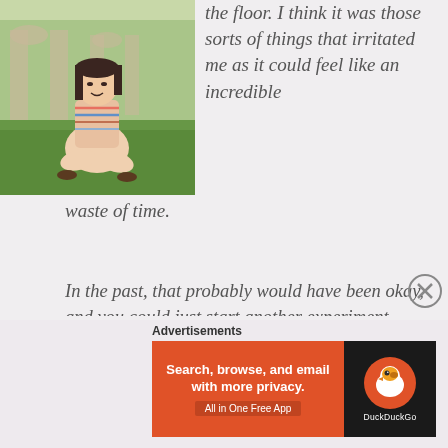[Figure (photo): A young woman with dark hair sitting cross-legged on grass outdoors, wearing a striped top, with arched architecture visible in the background]
the floor. I think it was those sorts of things that irritated me as it could feel like an incredible waste of time.
In the past, that probably would have been okay, and you could just start another experiment, happy in the knowledge that you had ruled something out. But the way science is funded these days you need to have a 'positive' result — a major breakthrough that makes a difference to the world around you. If you don't, you simply don't get funded. I think its
Advertisements
[Figure (screenshot): DuckDuckGo advertisement banner: orange left panel saying 'Search, browse, and email with more privacy. All in One Free App' and dark right panel with DuckDuckGo logo]